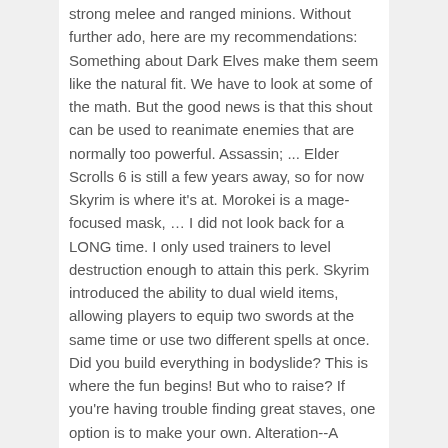strong melee and ranged minions. Without further ado, here are my recommendations: Something about Dark Elves make them seem like the natural fit. We have to look at some of the math. But the good news is that this shout can be used to reanimate enemies that are normally too powerful. Assassin; ... Elder Scrolls 6 is still a few years away, so for now Skyrim is where it's at. Morokei is a mage-focused mask, … I did not look back for a LONG time. I only used trainers to level destruction enough to attain this perk. Skyrim introduced the ability to dual wield items, allowing players to equip two swords at the same time or use two different spells at once. Did you build everything in bodyslide? This is where the fun begins! But who to raise? If you're having trouble finding great staves, one option is to make your own. Alteration--A necromancer is an inherently defensive mage, so you will need a lot of this. I don't have to tell you how useful this is, especially when you max out Conjuration and get to the point of having two summons! Let it evolve and turn you into a vampire, then have fun terrorizing the world as both a necro and a vampire! Is there a way to avoid raising the things your army kills? By focusing on the necromancy line of spells and perks, you get bigger, beefier, longer-lasting zombies. No, they aren't